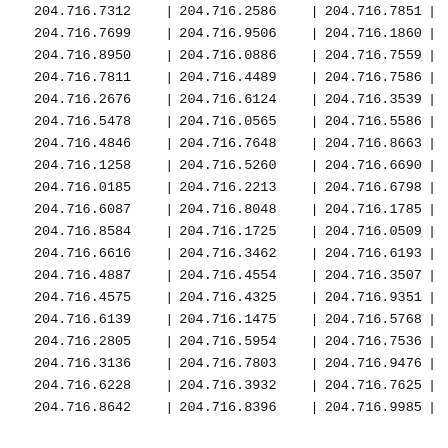| 204.716.7312 | 204.716.2586 | 204.716.7851 |
| 204.716.7699 | 204.716.9506 | 204.716.1860 |
| 204.716.8950 | 204.716.0886 | 204.716.7559 |
| 204.716.7811 | 204.716.4489 | 204.716.7586 |
| 204.716.2676 | 204.716.6124 | 204.716.3539 |
| 204.716.5478 | 204.716.0565 | 204.716.5586 |
| 204.716.4846 | 204.716.7648 | 204.716.8663 |
| 204.716.1258 | 204.716.5260 | 204.716.6690 |
| 204.716.0185 | 204.716.2213 | 204.716.6798 |
| 204.716.6087 | 204.716.8048 | 204.716.1785 |
| 204.716.8584 | 204.716.1725 | 204.716.0509 |
| 204.716.6616 | 204.716.3462 | 204.716.6193 |
| 204.716.4887 | 204.716.4554 | 204.716.3507 |
| 204.716.4575 | 204.716.4325 | 204.716.9351 |
| 204.716.6139 | 204.716.1475 | 204.716.5768 |
| 204.716.2805 | 204.716.5954 | 204.716.7536 |
| 204.716.3136 | 204.716.7803 | 204.716.9476 |
| 204.716.6228 | 204.716.3932 | 204.716.7625 |
| 204.716.8642 | 204.716.8396 | 204.716.9985 |